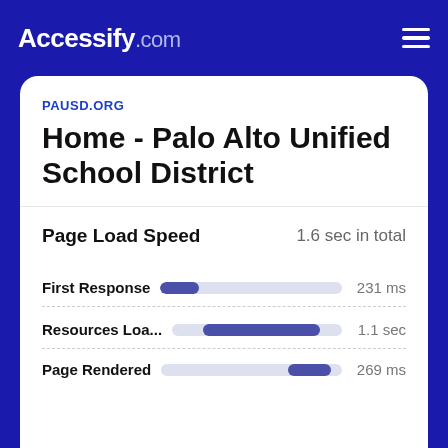Accessify.com
PAUSD.ORG
Home - Palo Alto Unified School District
Page Load Speed
1.6 sec in total
First Response   231 ms
Resources Loa...   1.1 sec
Page Rendered   269 ms